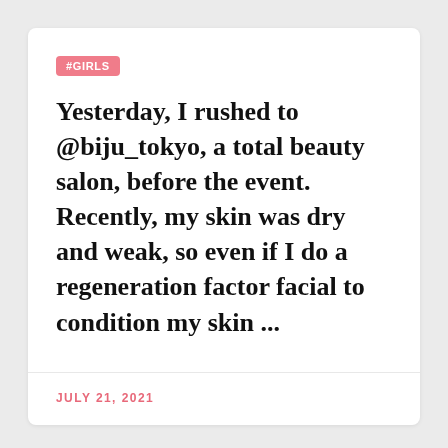#GIRLS
Yesterday, I rushed to @biju_tokyo, a total beauty salon, before the event. Recently, my skin was dry and weak, so even if I do a regeneration factor facial to condition my skin ...
JULY 21, 2021